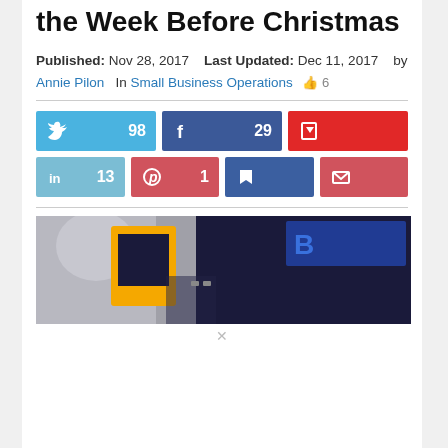the Week Before Christmas
Published: Nov 28, 2017   Last Updated: Dec 11, 2017   by Annie Pilon   In Small Business Operations  👍 6
[Figure (infographic): Social sharing buttons: Twitter (98), Facebook (29), Flipboard (no count shown), LinkedIn (13), Pinterest (1), Bookmark, Email]
[Figure (photo): Photo of a city street scene with a yellow taxi cab and blue signage in the background]